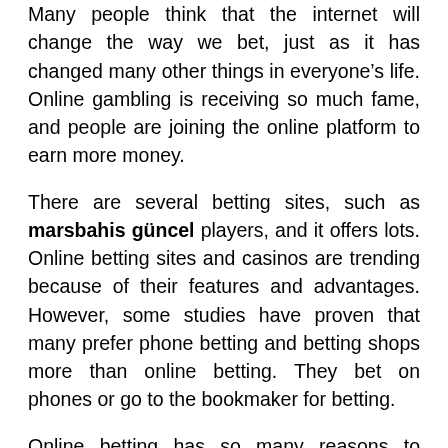Many people think that the internet will change the way we bet, just as it has changed many other things in everyone’s life. Online gambling is receiving so much fame, and people are joining the online platform to earn more money.
There are several betting sites, such as marsbahis güncel players, and it offers lots. Online betting sites and casinos are trending because of their features and advantages. However, some studies have proven that many prefer phone betting and betting shops more than online betting. They bet on phones or go to the bookmaker for betting.
Online betting has so many reasons to choose them. If you don’t know, then you should try. Here are some points you must read about online betting; it can help